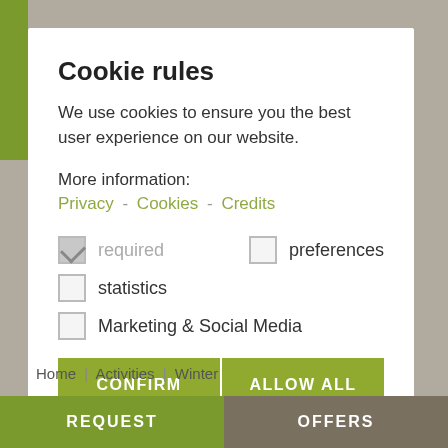Cookie rules
We use cookies to ensure you the best user experience on our website.
More information:
Privacy - Cookies - Credits
required (checked)
preferences
statistics
Marketing & Social Media
CONFIRM SELECTION   ALLOW ALL
Home | Activities | Winter
REQUEST   OFFERS